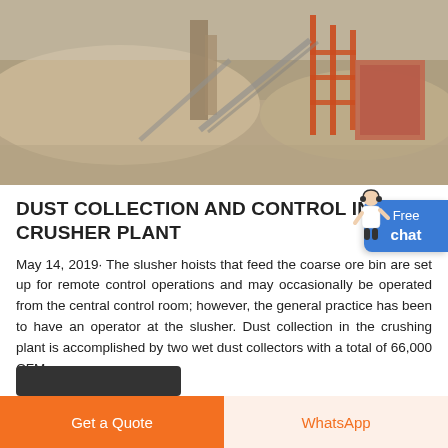[Figure (photo): Aerial/ground-level photograph of a crusher plant facility with industrial machinery, conveyor belts, red metal structures, and large piles of crushed aggregate. TRIDE logo visible in lower right of image.]
DUST COLLECTION AND CONTROL IN CRUSHER PLANT
May 14, 2019· The slusher hoists that feed the coarse ore bin are set up for remote control operations and may occasionally be operated from the central control room; however, the general practice has been to have an operator at the slusher. Dust collection in the crushing plant is accomplished by two wet dust collectors with a total of 66,000 CFM.